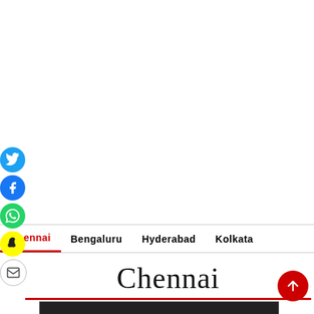[Figure (other): Social media share icons sidebar: Twitter (blue), Facebook (blue), WhatsApp (green), Snapchat (yellow), Email (white with border)]
Chennai   Bengaluru   Hyderabad   Kolkata
Chennai
[Figure (other): Scroll-to-top red circular button with upward arrow]
[Figure (screenshot): Partial thumbnail image strip at the bottom of the page]